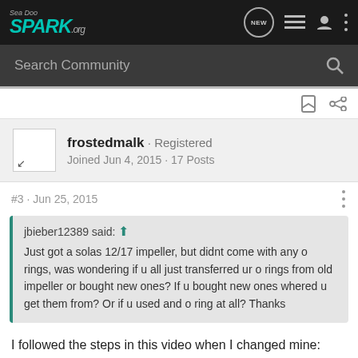Sea Doo Spark.org — NEW (navigation bar with search)
Search Community
[Figure (screenshot): Bookmark and share icons]
frostedmalk · Registered
Joined Jun 4, 2015 · 17 Posts
#3 · Jun 25, 2015
jbieber12389 said: ↑
Just got a solas 12/17 impeller, but didnt come with any o rings, was wondering if u all just transferred ur o rings from old impeller or bought new ones? If u bought new ones whered u get them from? Or if u used and o ring at all? Thanks
I followed the steps in this video when I changed mine:
https://www.youtube.com/watch?v=jv0Sl8oEC_1M